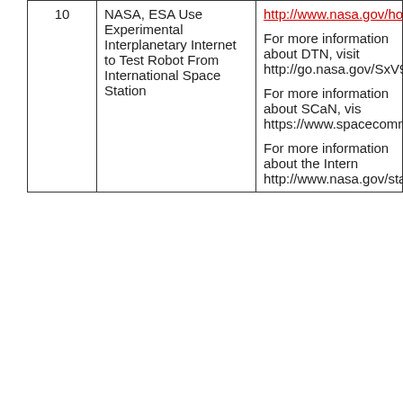| # | Title | Content |
| --- | --- | --- |
| 10 | NASA, ESA Use Experimental Interplanetary Internet to Test Robot From International Space Station | http://www.nasa.gov/home/hqnews/20...

For more information about DTN, visit
http://go.nasa.gov/SxV9QS

For more information about SCaN, vis...
https://www.spacecomm.nasa.gov

For more information about the Intern...
http://www.nasa.gov/station |